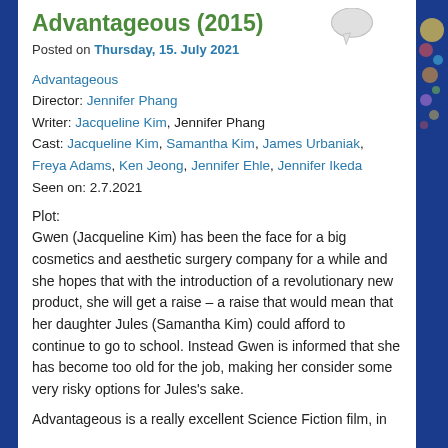Advantageous (2015)
Posted on Thursday, 15. July 2021
Advantageous
Director: Jennifer Phang
Writer: Jacqueline Kim, Jennifer Phang
Cast: Jacqueline Kim, Samantha Kim, James Urbaniak, Freya Adams, Ken Jeong, Jennifer Ehle, Jennifer Ikeda
Seen on: 2.7.2021
Plot:
Gwen (Jacqueline Kim) has been the face for a big cosmetics and aesthetic surgery company for a while and she hopes that with the introduction of a revolutionary new product, she will get a raise – a raise that would mean that her daughter Jules (Samantha Kim) could afford to continue to go to school. Instead Gwen is informed that she has become too old for the job, making her consider some very risky options for Jules’s sake.
Advantageous is a really excellent Science Fiction film, in